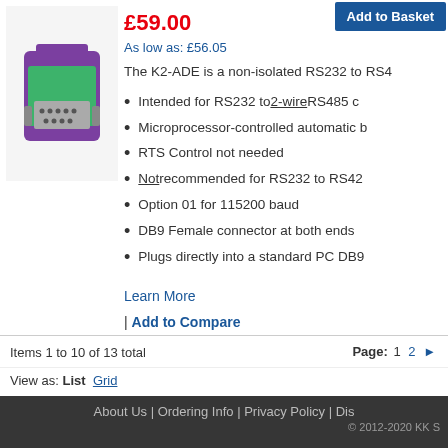[Figure (photo): K2-ADE RS232 to RS485 adapter device, purple and green colored connector]
£59.00
As low as: £56.05
Add to Basket
The K2-ADE is a non-isolated RS232 to RS4
Intended for RS232 to 2-wire RS485 c
Microprocessor-controlled automatic b
RTS Control not needed
Not recommended for RS232 to RS42
Option 01 for 115200 baud
DB9 Female connector at both ends
Plugs directly into a standard PC DB9
Learn More
| Add to Compare
Items 1 to 10 of 13 total
Page: 1 2 ▶
View as: List  Grid
About Us | Ordering Info | Privacy Policy | Dis
© 2012-2020 KK S